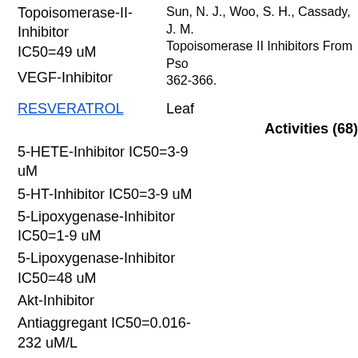Topoisomerase-II-Inhibitor IC50=49 uM
VEGF-Inhibitor
Sun, N. J., Woo, S. H., Cassady, J. M. Topoisomerase II Inhibitors From Pso... 362-366.
RESVERATROL
Leaf
Activities (68)
5-HETE-Inhibitor IC50=3-9 uM
5-HT-Inhibitor IC50=3-9 uM
5-Lipoxygenase-Inhibitor IC50=1-9 uM
5-Lipoxygenase-Inhibitor IC50=48 uM
Akt-Inhibitor
Antiaggregant IC50=0.016-232 uM/L
Antiaggregant IC50=100 uM
Antiangiogenic
Antibacterial
Anticancer
Anticarcinogenic
Antiodemis ED50=